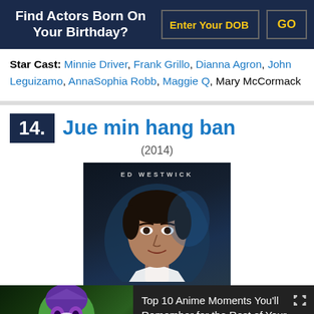Find Actors Born On Your Birthday?
Star Cast: Minnie Driver, Frank Grillo, Dianna Agron, John Leguizamo, AnnaSophia Robb, Maggie Q, Mary McCormack
14. Jue min hang ban (2014)
[Figure (photo): Movie poster for Jue min hang ban featuring Ed Westwick]
[Figure (screenshot): WatchMojo video thumbnail showing anime character with text: Top 10 Anime Moments You'll Remember for the Rest of Your Life]